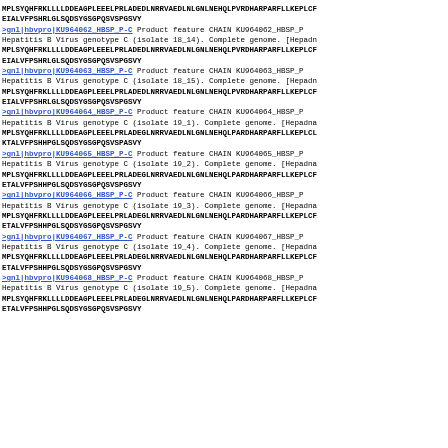MPLSYQHFRKLLLLDDEA GPLEEELPRLADEDLNRRVAEDLNLGNLNEHQLPVRDHARPARFLLKEPLCF EIALVFPSHRLGLSQDSYGSGPQSVSPGSVY
>gnl|hbvpro|KU964062_HBSP_P-C Product feature CHAIN KU964062_HBSP_P Hepatitis B Virus genotype C (isolate 18_14). Complete genome. [Hepadn MPLSYQHFRKLLLLDDEAGPLEEELPRLADEDLNRRVAEDLNLGNLNEHQLPVRDHARPARFLLKEPLCF EIALVFPSHRLGLSQDSYGSGPQSVSPGSVY
>gnl|hbvpro|KU964063_HBSP_P-C Product feature CHAIN KU964063_HBSP_P Hepatitis B Virus genotype C (isolate 18_15). Complete genome. [Hepadn MPLSYQHFRKLLLLDDEAGPLEEELPRLADEDLNRRVAEDLNLGNLNEHQLPVRDHARPARFLLKEPLCF EIALVFPSHRLGLSQDSYGSGPQSVSPGSVY
>gnl|hbvpro|KU964064_HBSP_P-C Product feature CHAIN KU964064_HBSP_P Hepatitis B Virus genotype C (isolate 19_1). Complete genome. [Hepadna MPLSYQHFRKLLLLDDEA GPLEEELPRLADEGLNRRVAEDLNLGNLNEHQLPARDHARPARFLLKEPLCL KTALVFPSHHPGLSQDSYGSGPQSVSPASVY
>gnl|hbvpro|KU964065_HBSP_P-C Product feature CHAIN KU964065_HBSP_P Hepatitis B Virus genotype C (isolate 19_2). Complete genome. [Hepadna MPLSYQHFRKLLLLDDEAGPLEEELPRLADEGLNRRVAEDLNLGNLNEHQLPARDHARPARFLLKEPLCF ETALVFPSHHPGLSQDSYGSGPQSVSPGSVY
>gnl|hbvpro|KU964066_HBSP_P-C Product feature CHAIN KU964066_HBSP_P Hepatitis B Virus genotype C (isolate 19_3). Complete genome. [Hepadna MPLSYQHFRKLLLLDDEAGPLEEELPRLADEGLNRRVAEDLNLGNLNEHQLPARDHARPARFLLKEPLCF ETALVFPSHHPGLSQDSYGSGPQSVSPGSVY
>gnl|hbvpro|KU964067_HBSP_P-C Product feature CHAIN KU964067_HBSP_P Hepatitis B Virus genotype C (isolate 19_4). Complete genome. [Hepadna MPLSYQHFRKLLLLDDEAGPLEEELPRLADEGLNRRVAEDLNLGNLNEHQLPARDHARPARFLLKEPLCF ETALVFPSHHPGLSQDSYGSGPQSVSPGSVY
>gnl|hbvpro|KU964068_HBSP_P-C Product feature CHAIN KU964068_HBSP_P Hepatitis B Virus genotype C (isolate 19_5). Complete genome. [Hepadna MPLSYQHFRKLLLLDDEA GPLEEELPRLADEGLNRRVAEDLNLGNLNEHQLPARDHARPARFLLKEPLCF ETALVFPSHHPGLSQDSYGSGPQSVSPGSVY